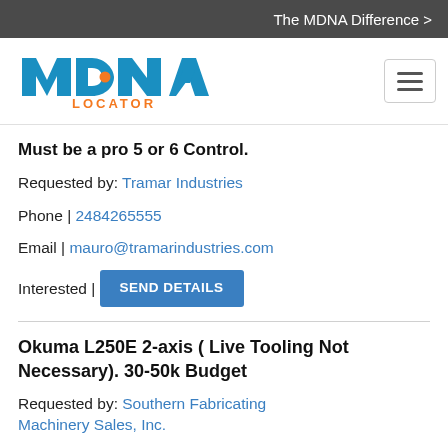The MDNA Difference >
[Figure (logo): MDNA Locator logo — blue MDNA text with orange LOCATOR text beneath]
Must be a pro 5 or 6 Control.
Requested by: Tramar Industries
Phone | 2484265555
Email | mauro@tramarindustries.com
Interested | SEND DETAILS
Okuma L250E 2-axis ( Live Tooling Not Necessary). 30-50k Budget
Requested by: Southern Fabricating Machinery Sales, Inc.